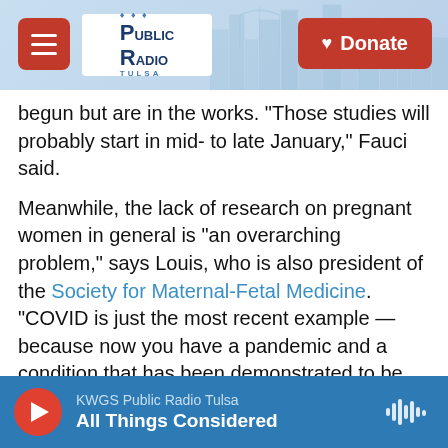[Figure (screenshot): Public Radio Tulsa website header with hamburger menu, logo, and Donate button over a blue city skyline background]
begun but are in the works. "Those studies will probably start in mid- to late January," Fauci said.
Meanwhile, the lack of research on pregnant women in general is "an overarching problem," says Louis, who is also president of the Society for Maternal-Fetal Medicine. "COVID is just the most recent example — because now you have a pandemic and a condition that has been demonstrated to be more severe in pregnant women. And so the issue is just more urgent now."
Thalidomide's legacy
[Figure (screenshot): Audio player bar: KWGS Public Radio Tulsa — All Things Considered]